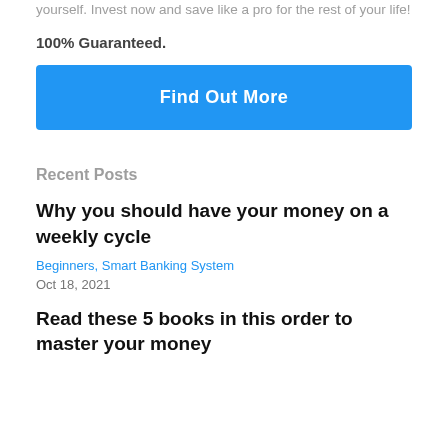yourself. Invest now and save like a pro for the rest of your life!
100% Guaranteed.
[Figure (other): Blue button with white bold text reading 'Find Out More']
Recent Posts
Why you should have your money on a weekly cycle
Beginners, Smart Banking System
Oct 18, 2021
Read these 5 books in this order to master your money